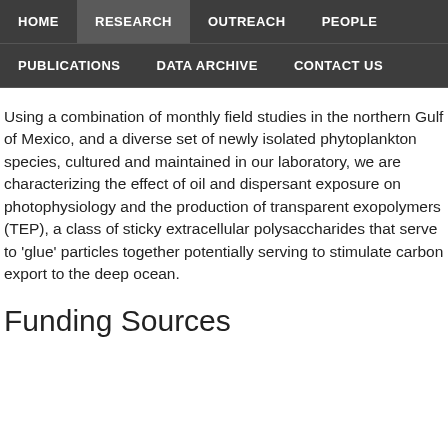HOME | RESEARCH | OUTREACH | PEOPLE | PUBLICATIONS | DATA ARCHIVE | CONTACT US
Using a combination of monthly field studies in the northern Gulf of Mexico, and a diverse set of newly isolated phytoplankton species, cultured and maintained in our laboratory, we are characterizing the effect of oil and dispersant exposure on photophysiology and the production of transparent exopolymers (TEP), a class of sticky extracellular polysaccharides that serve to 'glue' particles together potentially serving to stimulate carbon export to the deep ocean.
Funding Sources